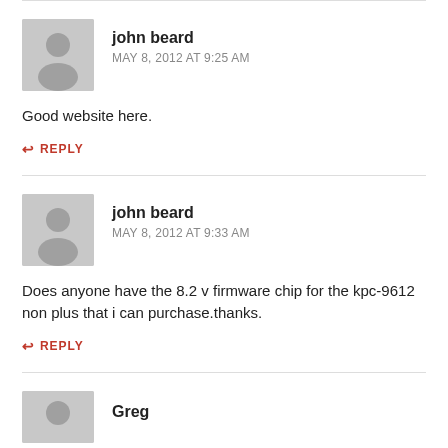john beard
MAY 8, 2012 AT 9:25 AM
Good website here.
REPLY
john beard
MAY 8, 2012 AT 9:33 AM
Does anyone have the 8.2 v firmware chip for the kpc-9612 non plus that i can purchase.thanks.
REPLY
Greg